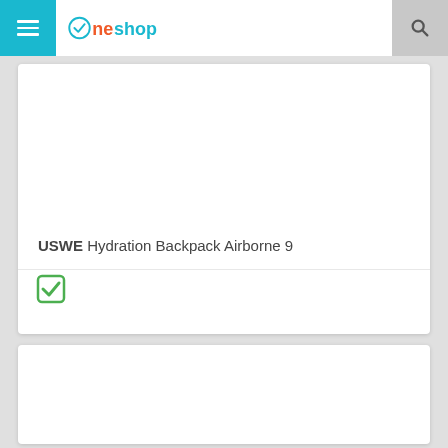Oneshop
USWE Hydration Backpack Airborne 9
[Figure (illustration): Green checkbox / checkmark icon indicating item is selected]